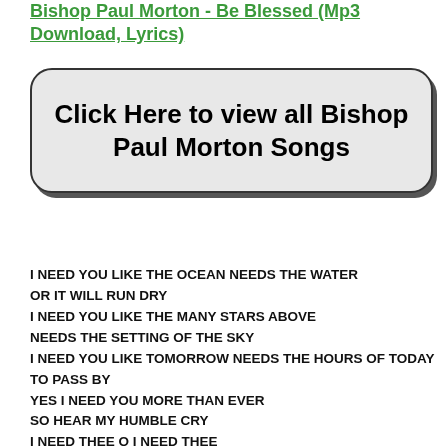Bishop Paul Morton - Be Blessed (Mp3 Download, Lyrics)
[Figure (other): A large rounded rectangle button with gray background and bold black text reading 'Click Here to view all Bishop Paul Morton Songs']
I NEED YOU LIKE THE OCEAN NEEDS THE WATER
OR IT WILL RUN DRY
I NEED YOU LIKE THE MANY STARS ABOVE
NEEDS THE SETTING OF THE SKY
I NEED YOU LIKE TOMORROW NEEDS THE HOURS OF TODAY
TO PASS BY
YES I NEED YOU MORE THAN EVER
SO HEAR MY HUMBLE CRY
I NEED THEE O I NEED THEE